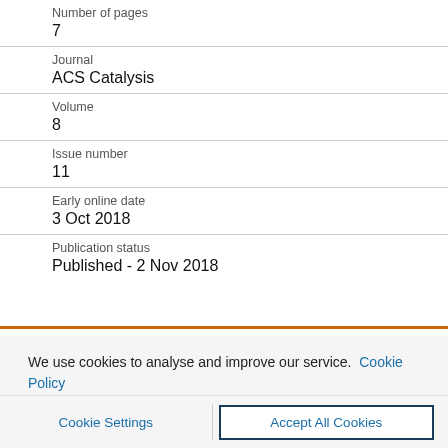Number of pages
7
Journal
ACS Catalysis
Volume
8
Issue number
11
Early online date
3 Oct 2018
Publication status
Published - 2 Nov 2018
We use cookies to analyse and improve our service. Cookie Policy
Cookie Settings
Accept All Cookies